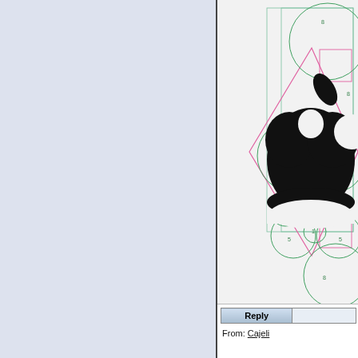[Figure (engineering-diagram): Apple logo construction diagram showing geometric circles and guidelines overlaid on the black Apple logo silhouette. Green circles labeled with numbers (8, 8, 8, 13, 3, 5, 1, 5, 5) and pink/magenta diamond and rectangle construction lines. Teal/green rectangular grid lines visible. The design analysis shows Fibonacci/golden ratio geometry used in the Apple logo.]
| Reply |  |
| --- | --- |
From: Cajeli